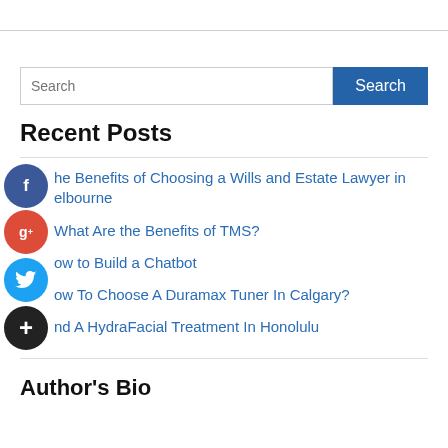Recent Posts
The Benefits of Choosing a Wills and Estate Lawyer in Melbourne
What Are the Benefits of TMS?
How to Build a Chatbot
How To Choose A Duramax Tuner In Calgary?
Find A HydraFacial Treatment In Honolulu
Author's Bio